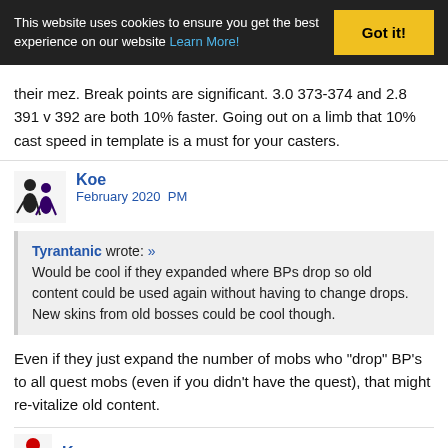This website uses cookies to ensure you get the best experience on our website Learn More! Got it!
their mez. Break points are significant. 3.0 373-374 and 2.8 391 v 392 are both 10% faster. Going out on a limb that 10% cast speed in template is a must for your casters.
Koe
February 2020  PM
Tyrantanic wrote: »
Would be cool if they expanded where BPs drop so old content could be used again without having to change drops. New skins from old bosses could be cool though.
Even if they just expand the number of mobs who "drop" BP's to all quest mobs (even if you didn't have the quest), that might re-vitalize old content.
Koe